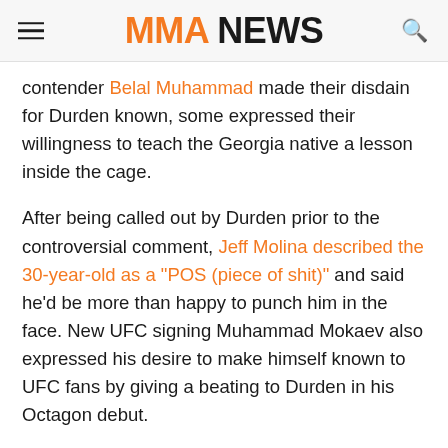MMA NEWS
contender Belal Muhammad made their disdain for Durden known, some expressed their willingness to teach the Georgia native a lesson inside the cage.
After being called out by Durden prior to the controversial comment, Jeff Molina described the 30-year-old as a "POS (piece of shit)" and said he'd be more than happy to punch him in the face. New UFC signing Muhammad Mokaev also expressed his desire to make himself known to UFC fans by giving a beating to Durden in his Octagon debut.
Muhammad Mokaev called his shot